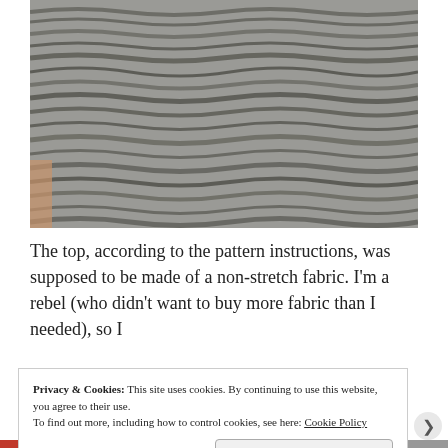[Figure (photo): Close-up photograph of textured knitted or woven fabric in gray and black tones, showing wavy horizontal rows with a bumpy, looped texture]
The top, according to the pattern instructions, was supposed to be made of a non-stretch fabric. I'm a rebel (who didn't want to buy more fabric than I needed), so I
Privacy & Cookies: This site uses cookies. By continuing to use this website, you agree to their use.
To find out more, including how to control cookies, see here: Cookie Policy
Close and accept